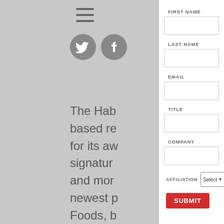[Figure (screenshot): Hamburger menu icon (three horizontal lines) in the top left background area]
[Figure (screenshot): Social media icons (Twitter bird and Facebook logo) partially visible on the left background]
The Hab... based re... for its aw... signatur... and mor... newest p... Foods, b... to select... Starting... will intro... innovatio... Impossib... Impossible Bistro Burger, both of which are made with Impossible Foods' award-winning plant-based meat.
FIRST NAME
LAST NAME
EMAIL
TITLE
COMPANY
AFFILIATION
Select from Below
SUBMIT